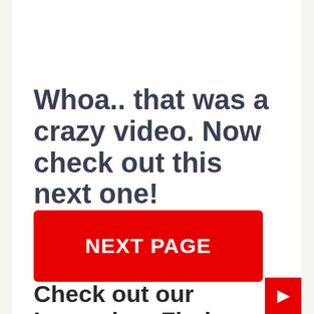Whoa.. that was a crazy video. Now check out this next one!
NEXT PAGE
Check out our Legendary Finds Classic